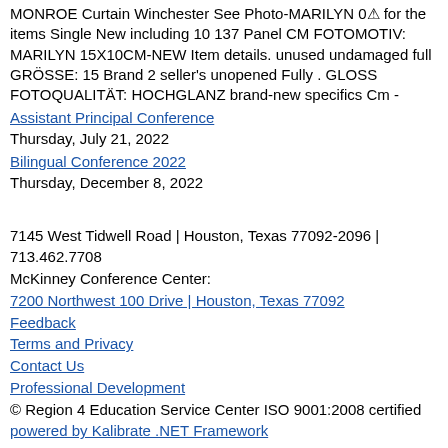MONROE Curtain Winchester See Photo-MARILYN 0 for the items Single New including 10 137 Panel CM FOTOMOTIV: MARILYN 15X10CM-NEW Item details. unused undamaged full GRÖSSE: 15 Brand 2 seller's unopened Fully . GLOSS FOTOQUALITÄT: HOCHGLANZ brand-new specifics Cm -
Assistant Principal Conference
Thursday, July 21, 2022
Bilingual Conference 2022
Thursday, December 8, 2022
7145 West Tidwell Road | Houston, Texas 77092-2096 | 713.462.7708
McKinney Conference Center:
7200 Northwest 100 Drive | Houston, Texas 77092
Feedback
Terms and Privacy
Contact Us
Professional Development
© Region 4 Education Service Center ISO 9001:2008 certified
powered by Kalibrate .NET Framework